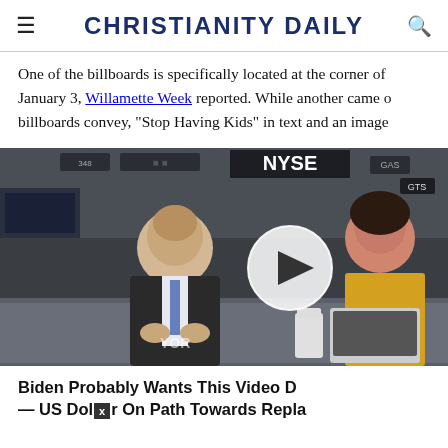CHRISTIANITY DAILY
One of the billboards is specifically located at the corner of January 3, Willamette Week reported. While another came o billboards convey, "Stop Having Kids" in text and an image
[Figure (screenshot): Video thumbnail showing two people at a NYSE studio desk with a play button overlay. A man in a dark suit and blue tie sits on the left; a woman in a yellow top sits on the right. NYSE branding visible in the background.]
Biden Probably Wants This Video D — US Dollar On Path Towards Repla